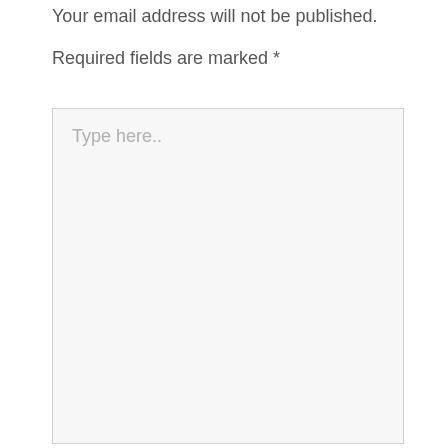Your email address will not be published.
Required fields are marked *
[Figure (other): Large text input/textarea form field with light gray background and border, containing placeholder text 'Type here..']